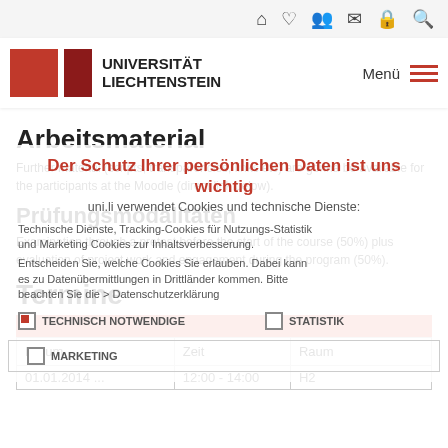🏠 ♥ 👥 ✉ 🔒 🔍
[Figure (logo): Universität Liechtenstein logo with red blocks and text]
Der Schutz Ihrer persönlichen Daten ist uns wichtig
uni.li verwendet Cookies und technische Dienste:
Technische Dienste, Tracking-Cookies für Nutzungs-Statistik und Marketing Cookies zur Inhaltsverbesserung.
Entscheiden Sie, welche Cookies Sie erlauben. Dabei kann es zu Datenübermittlungen in Drittländer kommen. Bitte beachten Sie die > Datenschutzerklärung
✓ TECHNISCH NOTWENDIGE   □ STATISTIK
□ MARKETING
Arbeitsmaterial
Further material (scripts, transparencies, links etc) are gonna be available for the participants at the Moodle (direct link below).
Prüfungsmodalitäten
Examination through a pretest before the start of the course (50%) plus evaluation of project work and engagement during the program (50%).
Termine
| Datum | Zeit | Raum |
| --- | --- | --- |
| 01.01.2014 ... | 12:00 - 14:00 | H2 |